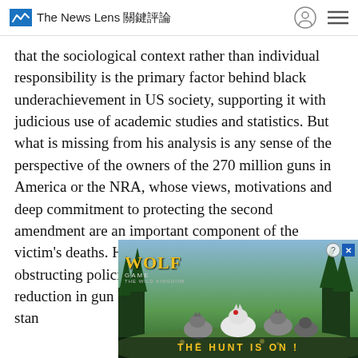The News Lens 關鍵評論
that the sociological context rather than individual responsibility is the primary factor behind black underachievement in US society, supporting it with judicious use of academic studies and statistics. But what is missing from his analysis is any sense of the perspective of the owners of the 270 million guns in America or the NRA, whose views, motivations and deep commitment to protecting the second amendment are an important component of the victim's deaths. How do these groups justify obstructing policies that would likely bring a reduction in gun deaths and prior...ight to liv...NRA, but t... stan...
[Figure (screenshot): Advertisement overlay for 'Wolf Game: The Wild Kingdom' showing wolves in a forest setting with the tagline 'THE HUNT IS ON!' and close/question buttons in the top right corner.]